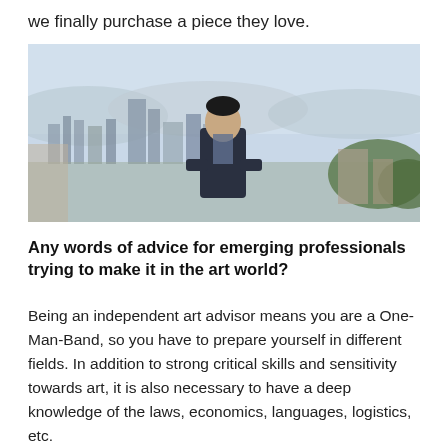we finally purchase a piece they love.
[Figure (photo): A man in a dark suit stands outdoors with a panoramic cityscape behind him, likely Barcelona, with hazy skies and urban skyline visible.]
Any words of advice for emerging professionals trying to make it in the art world?
Being an independent art advisor means you are a One-Man-Band, so you have to prepare yourself in different fields. In addition to strong critical skills and sensitivity towards art, it is also necessary to have a deep knowledge of the laws, economics, languages, logistics, etc.